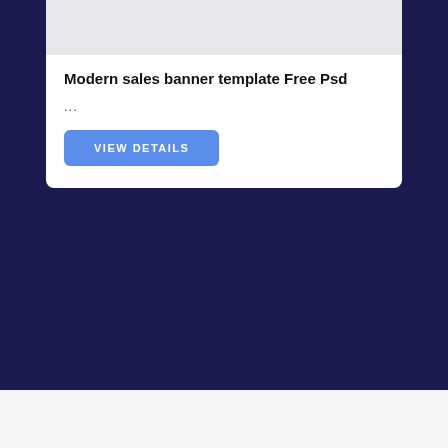[Figure (screenshot): Partial top card with light grey image area visible at the very top]
Modern sales banner template Free Psd
...
[Figure (screenshot): VIEW DETAILS button — blue rounded rectangle with white uppercase text]
[Figure (screenshot): Second white card area, mostly blank/empty white content area]